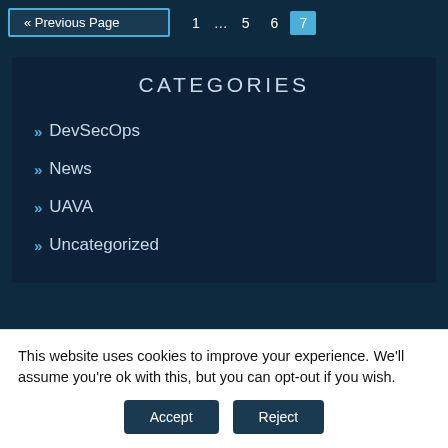« Previous Page   1 … 5 6 7
CATEGORIES
» DevSecOps
» News
» UAVA
» Uncategorized
This website uses cookies to improve your experience. We'll assume you're ok with this, but you can opt-out if you wish.
Accept   Reject